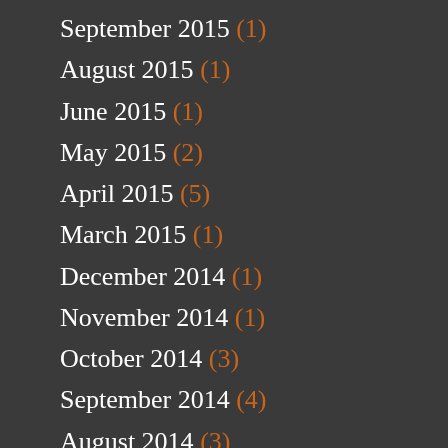September 2015 (1)
August 2015 (1)
June 2015 (1)
May 2015 (2)
April 2015 (5)
March 2015 (1)
December 2014 (1)
November 2014 (1)
October 2014 (3)
September 2014 (4)
August 2014 (3)
July 2014 (4)
June 2014 (4)
May 2014 (4)